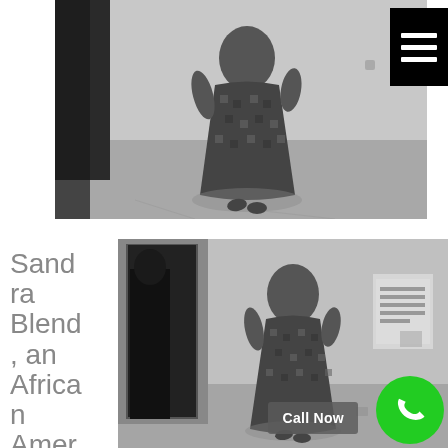[Figure (photo): Black and white security camera footage showing a person in a patterned dress walking in a hallway or institutional corridor. A menu/hamburger icon button is overlaid in the top right corner.]
Sandra Blend, an African American
[Figure (photo): Black and white security camera footage showing a person in a patterned dress entering through a doorway in an institutional setting. A 'Call Now' button and green phone icon are overlaid at the bottom right.]